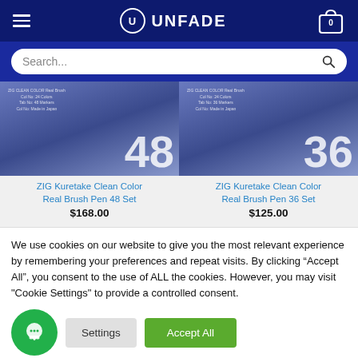UNFADE — navigation header with hamburger menu, logo, and cart (0 items)
Search...
[Figure (photo): ZIG Kuretake Clean Color Real Brush Pen 48 Set product package photo]
ZIG Kuretake Clean Color Real Brush Pen 48 Set $168.00
[Figure (photo): ZIG Kuretake Clean Color Real Brush Pen 36 Set product package photo]
ZIG Kuretake Clean Color Real Brush Pen 36 Set $125.00
We use cookies on our website to give you the most relevant experience by remembering your preferences and repeat visits. By clicking “Accept All”, you consent to the use of ALL the cookies. However, you may visit "Cookie Settings" to provide a controlled consent.
Settings
Accept All